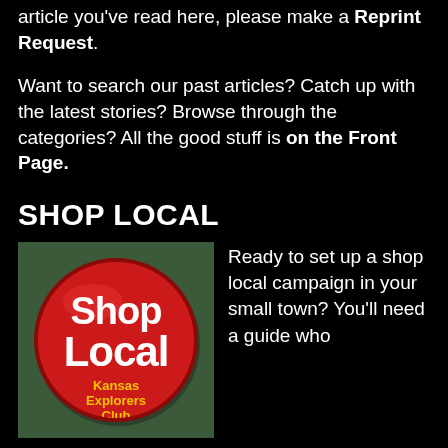article you've read here, please make a Reprint Request.
Want to search our past articles? Catch up with the latest stories? Browse through the categories? All the good stuff is on the Front Page.
SHOP LOCAL
[Figure (photo): A red circular button/badge reading 'Shop Local' with 'Kansas Explorers Club' in yellow text at the bottom, placed on a green/teal fabric background.]
Ready to set up a shop local campaign in your small town? You'll need a guide who
understands how we're different and what